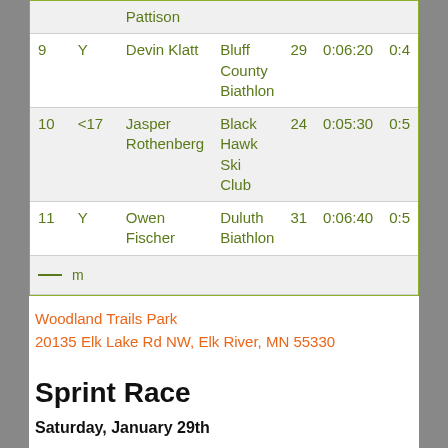| # | Age | Name | Club | Bib | Ski | ... |
| --- | --- | --- | --- | --- | --- | --- |
|  |  | Pattison |  |  |  |  |
| 9 | Y | Devin Klatt | Bluff County Biathlon | 29 | 0:06:20 | 0:4... |
| 10 | <17 | Jasper Rothenberg | Black Hawk Ski Club | 24 | 0:05:30 | 0:5... |
| 11 | Y | Owen Fischer | Duluth Biathlon | 31 | 0:06:40 | 0:5... |
| — m |  |  |  |  |  |  |
Woodland Trails Park
20135 Elk Lake Rd NW, Elk River, MN 55330
Sprint Race
Saturday, January 29th